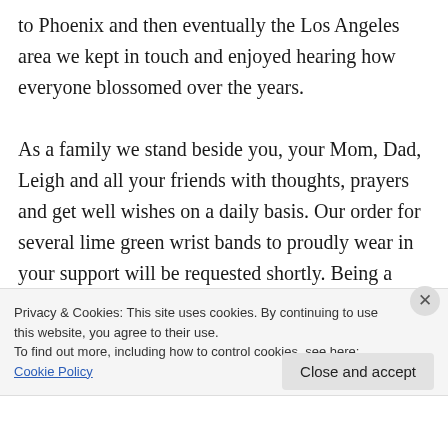to Phoenix and then eventually the Los Angeles area we kept in touch and enjoyed hearing how everyone blossomed over the years.

As a family we stand beside you, your Mom, Dad, Leigh and all your friends with thoughts, prayers and get well wishes on a daily basis. Our order for several lime green wrist bands to proudly wear in your support will be requested shortly. Being a fellow road bike enthusiast with a few century rides behind me I know how much
Privacy & Cookies: This site uses cookies. By continuing to use this website, you agree to their use.
To find out more, including how to control cookies, see here: Cookie Policy
Close and accept